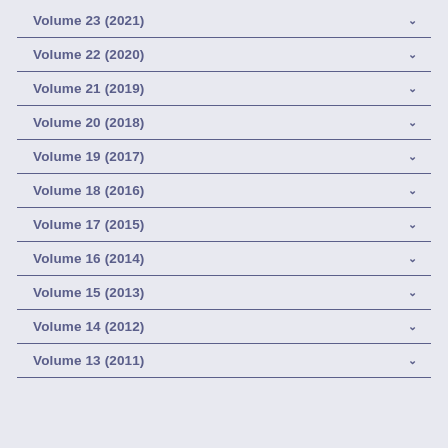Volume 23 (2021)
Volume 22 (2020)
Volume 21 (2019)
Volume 20 (2018)
Volume 19 (2017)
Volume 18 (2016)
Volume 17 (2015)
Volume 16 (2014)
Volume 15 (2013)
Volume 14 (2012)
Volume 13 (2011)